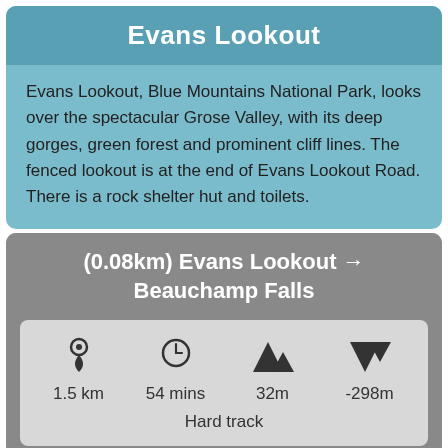Evans Lookout
Evans Lookout, Blue Mountains National Park, looks over the spectacular Grose Valley, with its deep gorges, green forest and prominent cliff lines. The fenced lookout is at the end of Evans Lookout Road. There is a rock shelter hut and toilets.
(0.08km) Evans Lookout → Beauchamp Falls
1.5 km  54 mins  32m  -298m  Hard track